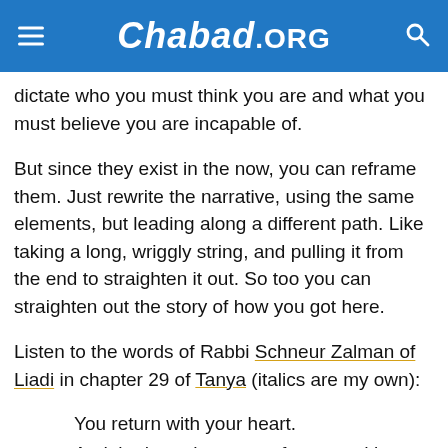Chabad.ORG
dictate who you must think you are and what you must believe you are incapable of.
But since they exist in the now, you can reframe them. Just rewrite the narrative, using the same elements, but leading along a different path. Like taking a long, wriggly string, and pulling it from the end to straighten it out. So too you can straighten out the story of how you got here.
Listen to the words of Rabbi Schneur Zalman of Liadi in chapter 29 of Tanya (italics are my own):
You return with your heart.
And the heart has many facets and layers.